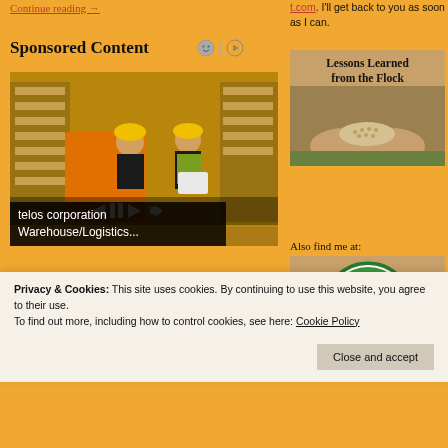Continue reading →
Sponsored Content
[Figure (photo): Two warehouse workers in yellow hard hats and safety vests, one on a forklift, in a large warehouse with shelving]
telos corporation Warehouse/Logistics...
t.com. I'll get back to you as soon as I can.
[Figure (photo): Lessons Learned from the Flock - image of hands holding grain/seeds]
Also find me at:
[Figure (logo): I Blog For Mother Earth News circular badge logo]
Privacy & Cookies: This site uses cookies. By continuing to use this website, you agree to their use.
To find out more, including how to control cookies, see here: Cookie Policy
Close and accept